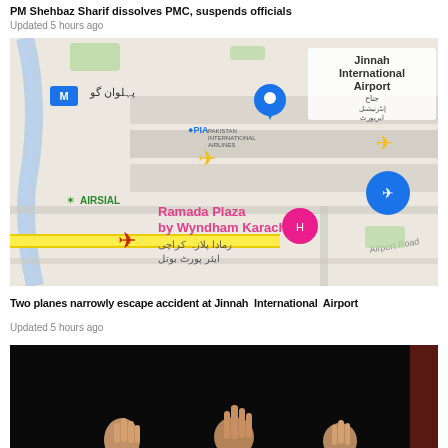PM Shehbaz Sharif dissolves PMC, suspends officials
Updated 5 hours ago
[Figure (map): Google Maps screenshot showing Jinnah International Airport area in Karachi with airplane icons representing PIA and Air Sial aircraft positions, Ramada Plaza by Wyndham Karachi hotel marked, and a yellow highlighted road.]
Two planes narrowly escape accident at Jinnah International Airport
Updated 5 hours ago
[Figure (photo): Dark background photo showing hands raised at bottom of frame]